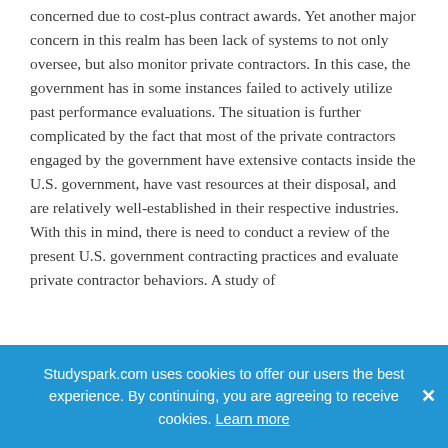concerned due to cost-plus contract awards. Yet another major concern in this realm has been lack of systems to not only oversee, but also monitor private contractors. In this case, the government has in some instances failed to actively utilize past performance evaluations. The situation is further complicated by the fact that most of the private contractors engaged by the government have extensive contacts inside the U.S. government, have vast resources at their disposal, and are relatively well-established in their respective industries. With this in mind, there is need to conduct a review of the present U.S. government contracting practices and evaluate private contractor behaviors. A study of
Studyspark.com uses cookies to offer our users the best experience. By continuing, you are agreeing to receive cookies. Learn more